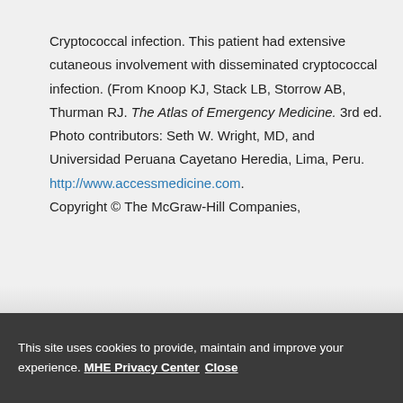Cryptococcal infection. This patient had extensive cutaneous involvement with disseminated cryptococcal infection. (From Knoop KJ, Stack LB, Storrow AB, Thurman RJ. The Atlas of Emergency Medicine. 3rd ed. Photo contributors: Seth W. Wright, MD, and Universidad Peruana Cayetano Heredia, Lima, Peru. http://www.accessmedicine.com. Copyright © The McGraw-Hill Companies.
This site uses cookies to provide, maintain and improve your experience. MHE Privacy Center Close